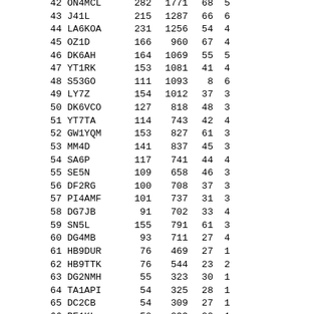| # | Callsign | Col3 | Col4 | Col5 | Col6 |
| --- | --- | --- | --- | --- | --- |
| 42 | ON4MCL | 282 | 1771 | 68 | 5 |
| 43 | J41L | 215 | 1287 | 66 | 6 |
| 44 | LA6KOA | 231 | 1256 | 54 | 4 |
| 45 | OZ1D | 166 | 960 | 67 | 4 |
| 46 | DK6AH | 164 | 1069 | 55 | 5 |
| 47 | YT1RK | 153 | 1081 | 41 | 4 |
| 48 | S53GO | 111 | 1093 | 8 | 6 |
| 49 | LY7Z | 154 | 1012 | 37 | 3 |
| 50 | DK6VCO | 127 | 818 | 48 | 3 |
| 51 | YT7TA | 114 | 743 | 42 | 4 |
| 52 | GW1YQM | 153 | 827 | 61 | 3 |
| 53 | MM4D | 141 | 837 | 45 | 3 |
| 54 | SA6P | 117 | 741 | 44 | 4 |
| 55 | SE5N | 109 | 658 | 46 | 3 |
| 56 | DF2RG | 100 | 708 | 37 | 3 |
| 57 | PI4AMF | 101 | 737 | 31 | 3 |
| 58 | DG7JB | 91 | 702 | 33 | 4 |
| 59 | SN5L | 155 | 791 | 61 | 3 |
| 60 | DG4MB | 93 | 711 | 27 | 4 |
| 61 | HB9DUR | 76 | 469 | 27 | 1 |
| 62 | HB9TTK | 76 | 544 | 23 | 2 |
| 63 | DG2NMH | 55 | 323 | 30 | 1 |
| 64 | TA1API | 54 | 325 | 28 | 1 |
| 65 | DC2CB | 54 | 309 | 27 | 1 |
| 66 | PE1KL | 50 | 299 | 20 | 1 |
| 67 | PA3J | 32 | 186 | 19 | 1 |
| 68 | SV1KYC | 35 | 201 | 20 |  |
| 69 | M0AUG | 35 | 177 | 17 |  |